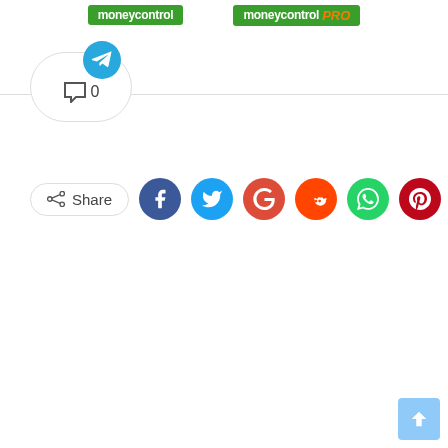[Figure (logo): Moneycontrol logo (green background, white text)]
[Figure (logo): Moneycontrol PRO logo (green background, white text, orange PRO)]
[Figure (infographic): Telegram notification button with comment icon showing 0 comments, inside a rounded border]
[Figure (infographic): Share button with social media icons: Facebook (dark blue), Twitter (light blue), Google (red-orange), Reddit (orange-red), WhatsApp (green), Pinterest (dark red), Email (dark grey)]